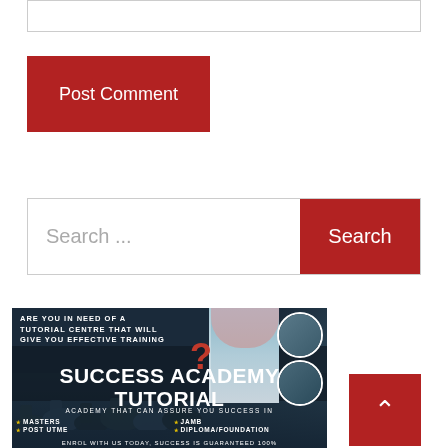[Figure (screenshot): Text input box (comment field), partially visible at top of page]
[Figure (screenshot): Red 'Post Comment' button]
[Figure (screenshot): Search bar with placeholder text 'Search ...' and a red 'Search' button on the right]
[Figure (photo): Success Academy Tutorial advertisement banner showing graduates in caps and gowns, a girl holding books, circular photo insets, red question mark, and text: 'ARE YOU IN NEED OF A TUTORIAL CENTRE THAT WILL GIVE YOU EFFECTIVE TRAINING?', 'SUCCESS ACADEMY TUTORIAL', 'ACADEMY THAT CAN ASSURE YOU SUCCESS IN', 'MASTERS', 'JAMB', 'POST UTME', 'DIPLOMA/FOUNDATION', 'ENROL WITH US TODAY, SUCCESS IS GUARANTEED 100%']
[Figure (screenshot): Red square 'back to top' button with an upward chevron/caret arrow icon]